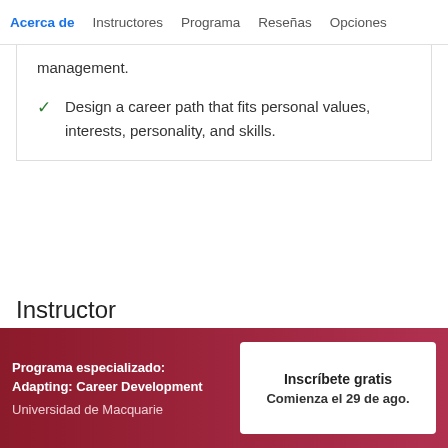Acerca de | Instructores | Programa | Reseñas | Opciones
management.
Design a career path that fits personal values, interests, personality, and skills.
Instructor
Programa especializado: Adapting: Career Development
Universidad de Macquarie
Inscríbete gratis
Comienza el 29 de ago.